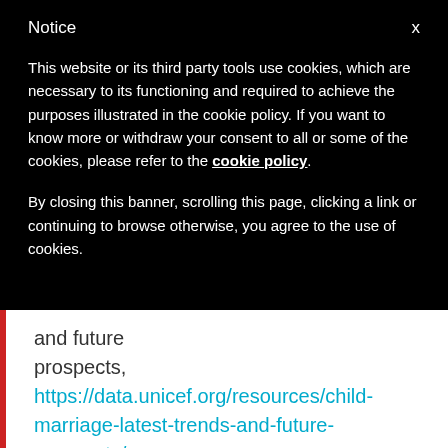Notice
This website or its third party tools use cookies, which are necessary to its functioning and required to achieve the purposes illustrated in the cookie policy. If you want to know more or withdraw your consent to all or some of the cookies, please refer to the cookie policy.
By closing this banner, scrolling this page, clicking a link or continuing to browse otherwise, you agree to the use of cookies.
and future prospects, https://data.unicef.org/resources/child-marriage-latest-trends-and-future-prospects/ [vi]Save the Children and Human Rights Centre UC Berkeley School of Law (2018) Toward an End to Child Marriage – Lessons from